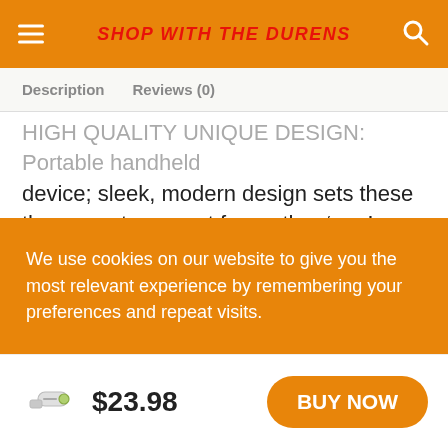SHOP WITH THE DURENS
Description   Reviews (0)
HIGH QUALITY UNIQUE DESIGN: Portable handheld device; sleek, modern design sets these thermometers apart from other 'gun' thermometers; Requires 2 AA batteries. 30-DAY MONEY BACK GUARANTEE! Trusted American company; Meets standards and regulations; FSA HSA approved; Factory tested and comes with 2 year warranty
We use cookies on our website to give you the most relevant experience by remembering your preferences and repeat visits.
$23.98  BUY NOW